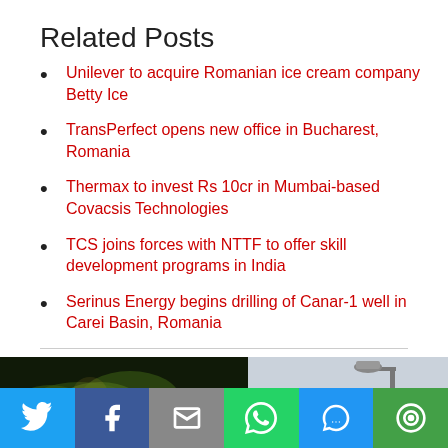Related Posts
Unilever to acquire Romanian ice cream company Betty Ice
TransPerfect opens new office in Bucharest, Romania
Thermax to invest Rs 10cr in Mumbai-based Covacsis Technologies
TCS joins forces with NTTF to offer skill development programs in India
Serinus Energy begins drilling of Canar-1 well in Carei Basin, Romania
[Figure (photo): Two photos side by side: left shows green plant/foliage on dark background, right shows a street lamp against a grey sky]
[Figure (infographic): Social sharing bar with Twitter, Facebook, Email, WhatsApp, SMS, and More buttons]